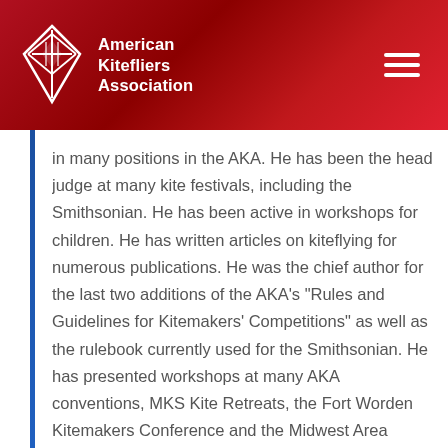American Kitefliers Association
in many positions in the AKA. He has been the head judge at many kite festivals, including the Smithsonian. He has been active in workshops for children. He has written articles on kiteflying for numerous publications. He was the chief author for the last two additions of the AKA’s “Rules and Guidelines for Kitemakers’ Competitions” as well as the rulebook currently used for the Smithsonian. He has presented workshops at many AKA conventions, MKS Kite Retreats, the Fort Worden Kitemakers Conference and the Midwest Area Kitemakers Retreat. Jon has been a vocal advocate of the need for kitefliers to appreciate their fellow enthusiasts. He hosted Lee Toy for several days on his motorcycle tour of the U.S. He has contributed a